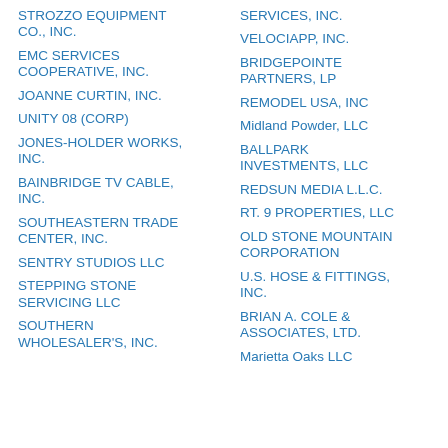STROZZO EQUIPMENT CO., INC.
EMC SERVICES COOPERATIVE, INC.
JOANNE CURTIN, INC.
UNITY 08 (CORP)
JONES-HOLDER WORKS, INC.
BAINBRIDGE TV CABLE, INC.
SOUTHEASTERN TRADE CENTER, INC.
SENTRY STUDIOS LLC
STEPPING STONE SERVICING LLC
SOUTHERN WHOLESALER'S, INC.
SERVICES, INC.
VELOCIAPP, INC.
BRIDGEPOINTE PARTNERS, LP
REMODEL USA, INC
Midland Powder, LLC
BALLPARK INVESTMENTS, LLC
REDSUN MEDIA L.L.C.
RT. 9 PROPERTIES, LLC
OLD STONE MOUNTAIN CORPORATION
U.S. HOSE & FITTINGS, INC.
BRIAN A. COLE & ASSOCIATES, LTD.
Marietta Oaks LLC